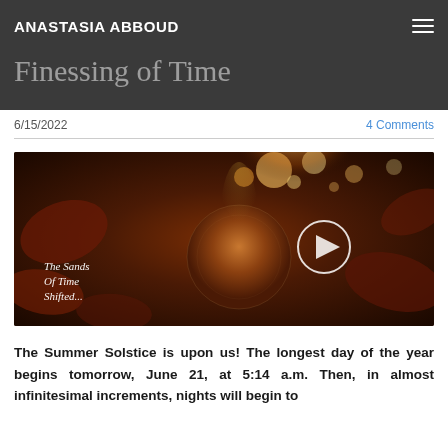ANASTASIA ABBOUD
Finessing of Time
6/15/2022
4 Comments
[Figure (photo): Video thumbnail showing a glittering crystal ball or geode object surrounded by autumn leaves and bokeh lights, with white italic text overlay reading 'The Sands Of Time Shifted...' and a circular play button in the center.]
The Summer Solstice is upon us! The longest day of the year begins tomorrow, June 21, at 5:14 a.m. Then, in almost infinitesimal increments, nights will begin to